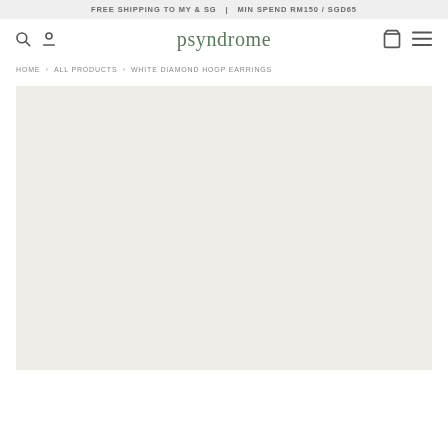FREE SHIPPING TO MY & SG  |  MIN SPEND RM150 / SGD65
psyndrome
HOME > ALL PRODUCTS > WHITE DIAMOND HOOP EARRINGS
[Figure (photo): Product image area showing an off-white/cream background placeholder for White Diamond Hoop Earrings product]